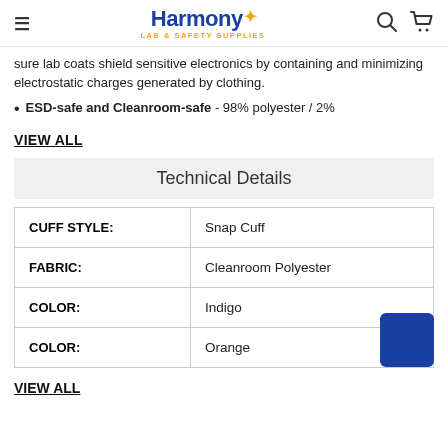Harmony LAB & SAFETY SUPPLIES
sure lab coats shield sensitive electronics by containing and minimizing electrostatic charges generated by clothing.
ESD-safe and Cleanroom-safe - 98% polyester / 2%
VIEW ALL
Technical Details
|  |  |
| --- | --- |
| CUFF STYLE: | Snap Cuff |
| FABRIC: | Cleanroom Polyester |
| COLOR: | Indigo |
| COLOR: | Orange |
VIEW ALL